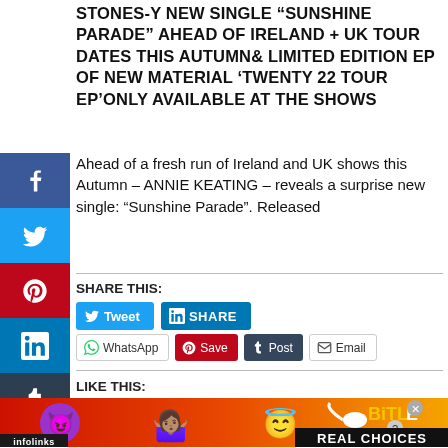STONES-Y NEW SINGLE “SUNSHINE PARADE” AHEAD OF IRELAND + UK TOUR DATES THIS AUTUMN& LIMITED EDITION EP OF NEW MATERIAL ‘TWENTY 22 TOUR EP’ONLY AVAILABLE AT THE SHOWS
Ahead of a fresh run of Ireland and UK shows this Autumn – ANNIE KEATING – reveals a surprise new single: “Sunshine Parade”. Released
SHARE THIS:
[Figure (screenshot): Social share buttons: Tweet (Twitter/blue), SHARE (LinkedIn/blue), WhatsApp, Save (Pinterest/red), Post (Tumblr/dark), Email]
LIKE THIS:
[Figure (infographic): BitLife advertisement banner with emoji characters (devil, person shrugging, angel) and text REAL CHOICES on red/orange background]
infolinks